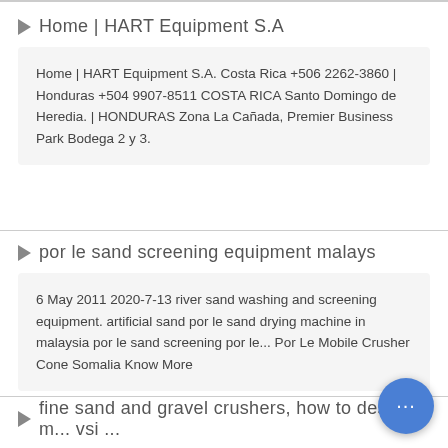Home | HART Equipment S.A
Home | HART Equipment S.A. Costa Rica +506 2262-3860 | Honduras +504 9907-8511 COSTA RICA Santo Domingo de Heredia. | HONDURAS Zona La Cañada, Premier Business Park Bodega 2 y 3.
por le sand screening equipment malays
6 May 2011 2020-7-13 river sand washing and screening equipment. artificial sand por le sand drying machine in malaysia por le sand screening por le... Por Le Mobile Crusher Cone Somalia Know More
fine sand and gravel crushers, how to design m... vsi ...